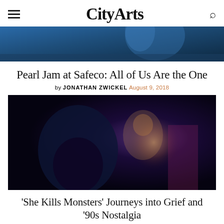CityArts
[Figure (photo): Concert photo showing a performer on stage with blue lighting, arm raised, with long hair visible against a blue background.]
Pearl Jam at Safeco: All of Us Are the One
by JONATHAN ZWICKEL August 9, 2018
[Figure (photo): Dark theatrical scene with two figures, one wearing a glittery headpiece and costume, in a blue-lit dramatic setting from the production 'She Kills Monsters'.]
'She Kills Monsters' Journeys into Grief and '90s Nostalgia